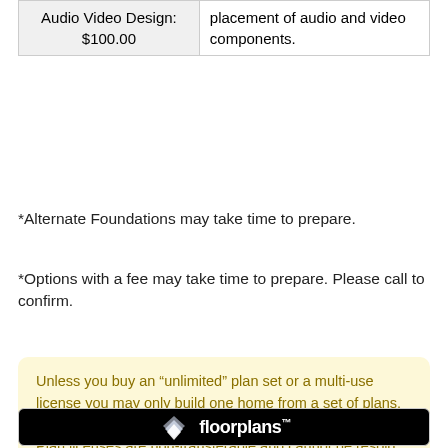| Audio Video Design:
$100.00 | placement of audio and video components. |
*Alternate Foundations may take time to prepare.
*Options with a fee may take time to prepare. Please call to confirm.
Unless you buy an “unlimited” plan set or a multi-use license you may only build one home from a set of plans. Please call to verify if you intend to build more than once. Plan licenses are non-transferable and cannot be resold.
[Figure (logo): Floorplans logo on black background with stylized pages icon]